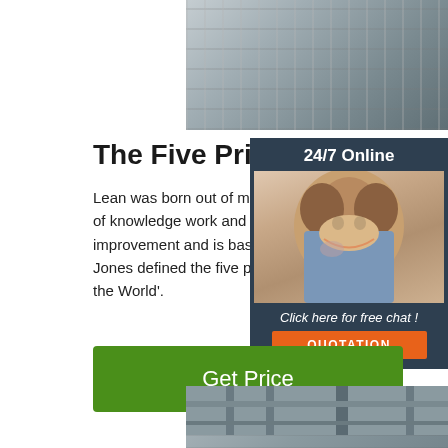[Figure (photo): Industrial manufacturing machinery, metal rails or conveyor equipment in a factory setting]
The Five Principles of Lean
Lean was born out of manufacturing practice and in recent time has transformed the world of knowledge work and management. It encompasses the practice of continuous improvement and is based on the fundamental idea of respect for people. Womack and Jones defined the five principles of Lean manufacturing in their 'The Machine That Changed the World'.
[Figure (photo): Woman with headset smiling, customer service representative, 24/7 Online chat sidebar]
Get Price
[Figure (photo): Industrial building interior with structural steel and storage shelving]